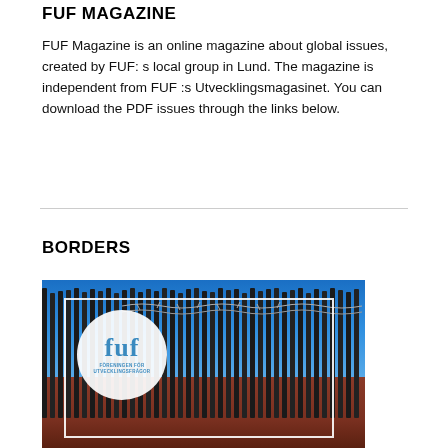FUF MAGAZINE
FUF Magazine is an online magazine about global issues, created by FUF: s local group in Lund. The magazine is independent from FUF :s Utvecklingsmagasinet. You can download the PDF issues through the links below.
BORDERS
[Figure (photo): Magazine cover showing a border fence/wall with barbed wire against a blue sky. The FUF logo (white circle with 'fuf' text and 'FÖRENINGEN FÖR UTVECKLINGSFRÅGOR' subtitle) is overlaid on the left side. A white rectangular border frames the cover design.]